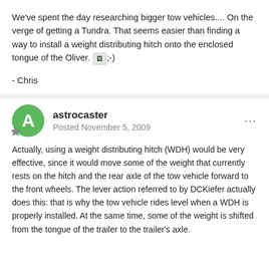We've spent the day researching bigger tow vehicles.... On the verge of getting a Tundra. That seems easier than finding a way to install a weight distributing hitch onto the enclosed tongue of the Oliver. ;-)
- Chris
astrocaster
Posted November 5, 2009
Actually, using a weight distributing hitch (WDH) would be very effective, since it would move some of the weight that currently rests on the hitch and the rear axle of the tow vehicle forward to the front wheels. The lever action referred to by DCKiefer actually does this: that is why the tow vehicle rides level when a WDH is properly installed. At the same time, some of the weight is shifted from the tongue of the trailer to the trailer's axle.